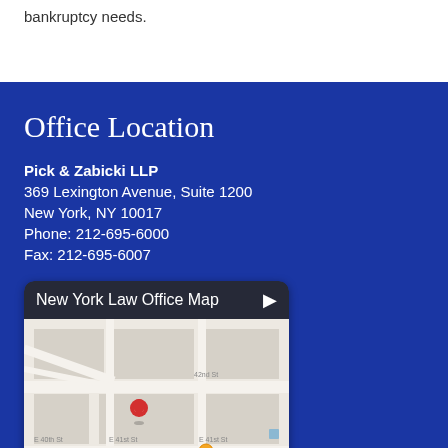bankruptcy needs.
Office Location
Pick & Zabicki LLP
369 Lexington Avenue, Suite 1200
New York, NY 10017
Phone: 212-695-6000
Fax: 212-695-6007
[Figure (map): New York Law Office Map showing street map near 42nd St, E 40th St, E 41st St with a red location pin marker near Bedford area, Google Maps style.]